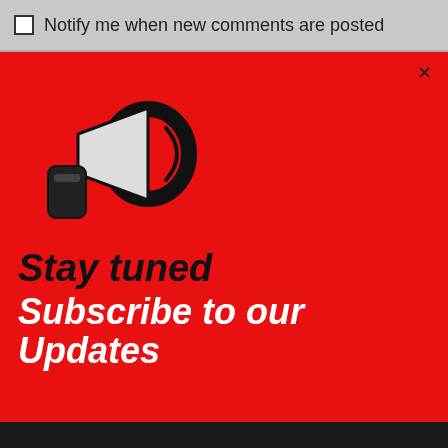☐ Notify me when new comments are posted
[Figure (illustration): Red modal popup with megaphone icon, 'Stay tuned' text in black bold italic, and 'Subscribe to our Updates' text in white bold italic on red background. An X close button in top right.]
invoer (spam) te voorkomen.
WELCOME! THIS WEBSITE USES COOKIES.
Ad Valvas only places necessary cookies for the technical functioning of the site, and statistics cookies that help us to improve the website. Your privacy is guaranteed.
OK   Meer informatie